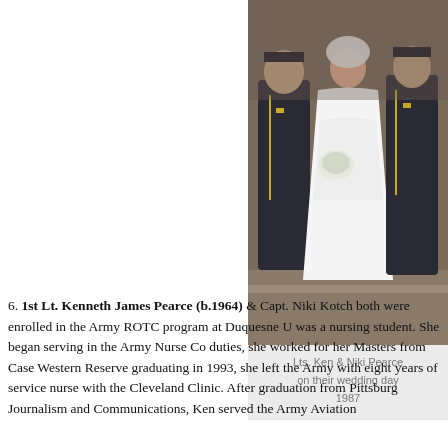[Figure (photo): Wedding photo of Lts. Ken and Niki Pearce in 1987. A bride in a white dress and veil holding a bouquet, flanked by two men in military dress uniforms.]
Lts. Ken & Niki Pearce
on their wedding day
1987
6. 1st Lt. Kenneth James Pearce (b.1964) & Capt. Niki Kotch both were enrolled in the Army ROTC program at Duquesne U... was a nursing student. She began serving in the Army Nurse Co... duties, she worked for her Masters from Case Western Reserve ... graduating in 1993, she left the Army with eight years of service... nurse with the Cleveland Clinic. After graduation from Pittsburg... Journalism and Communications, Ken served the Army Aviation...